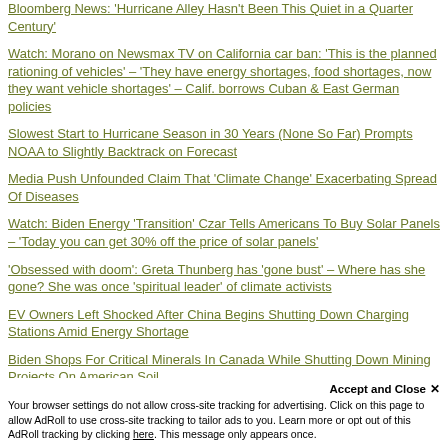Bloomberg News: 'Hurricane Alley Hasn't Been This Quiet in a Quarter Century'
Watch: Morano on Newsmax TV on California car ban: 'This is the planned rationing of vehicles' – 'They have energy shortages, food shortages, now they want vehicle shortages' – Calif. borrows Cuban & East German policies
Slowest Start to Hurricane Season in 30 Years (None So Far) Prompts NOAA to Slightly Backtrack on Forecast
Media Push Unfounded Claim That 'Climate Change' Exacerbating Spread Of Diseases
Watch: Biden Energy 'Transition' Czar Tells Americans To Buy Solar Panels – 'Today you can get 30% off the price of solar panels'
'Obsessed with doom': Greta Thunberg has 'gone bust' – Where has she gone? She was once 'spiritual leader' of climate activists
EV Owners Left Shocked After China Begins Shutting Down Charging Stations Amid Energy Shortage
Biden Shops For Critical Minerals In Canada While Shutting Down Mining Projects On American Soil
Accept and Close ✕
Your browser settings do not allow cross-site tracking for advertising. Click on this page to allow AdRoll to use cross-site tracking to tailor ads to you. Learn more or opt out of this AdRoll tracking by clicking here. This message only appears once.